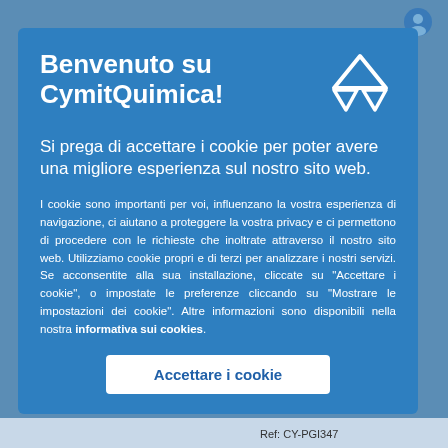Benvenuto su CymitQuimica!
Si prega di accettare i cookie per poter avere una migliore esperienza sul nostro sito web.
I cookie sono importanti per voi, influenzano la vostra esperienza di navigazione, ci aiutano a proteggere la vostra privacy e ci permettono di procedere con le richieste che inoltrate attraverso il nostro sito web. Utilizziamo cookie propri e di terzi per analizzare i nostri servizi. Se acconsentite alla sua installazione, cliccate su "Accettare i cookie", o impostate le preferenze cliccando su "Mostrare le impostazioni dei cookie". Altre informazioni sono disponibili nella nostra informativa sui cookies.
[Figure (logo): CymitQuimica logo — white triangle/pyramid outline icon]
Accettare i cookie